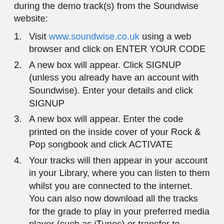during the demo track(s) from the Soundwise website:
Visit www.soundwise.co.uk using a web browser and click on ENTER YOUR CODE
A new box will appear. Click SIGNUP (unless you already have an account with Soundwise). Enter your details and click SIGNUP
A new box will appear. Enter the code printed on the inside cover of your Rock & Pop songbook and click ACTIVATE
Your tracks will then appear in your account in your Library, where you can listen to them whilst you are connected to the internet. You can also now download all the tracks for the grade to play in your preferred media player (such as iTunes) or transfer to another device such as a mobile phone, tablet or memory stick. See 'How do I download